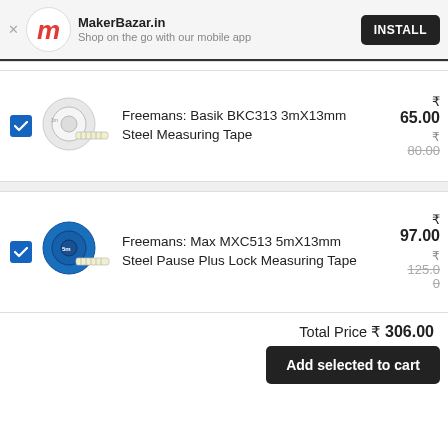MakerBazar.in — Shop on the go with our mobile app
Freemans: Basik BKC313 3mX13mm Steel Measuring Tape — ₹65.00 (was ₹80.00)
Freemans: Max MXC513 5mX13mm Steel Pause Plus Lock Measuring Tape — ₹97.00 (was ₹125.00)
Total Price ₹ 306.00
Add selected to cart